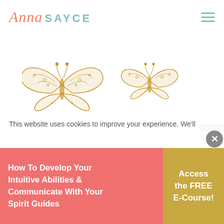Anna SAYCE
[Figure (illustration): Two golden butterfly line illustrations side by side on a white background]
Managing
Your Sensitivity
This website uses cookies to improve your experience. We'll
How to Develop your Intuitive Abilities & Communicate with your Spirit Guides
Access the FREE E-Course!